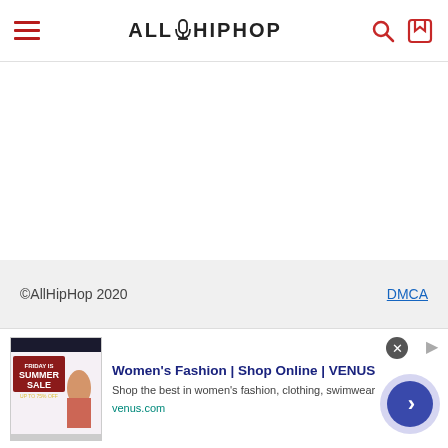AllHipHop
©AllHipHop 2020   DMCA
[Figure (screenshot): Ad banner for Women's Fashion | Shop Online | VENUS. Shows a Summer Sale promotional image on the left, text 'Women's Fashion | Shop Online | VENUS', subtitle 'Shop the best in women's fashion, clothing, swimwear', domain 'venus.com', with a right-arrow button on the right.]